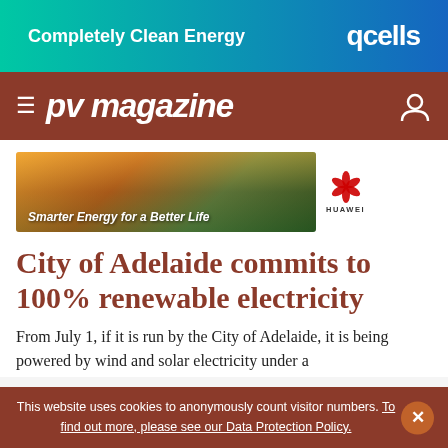[Figure (other): Qcells advertisement banner: 'Completely Clean Energy' with gradient teal-to-blue background and Qcells logo in white]
≡ pv magazine
[Figure (other): Huawei advertisement banner showing aerial view of building in landscape with text 'Smarter Energy for a Better Life' and Huawei logo]
City of Adelaide commits to 100% renewable electricity
From July 1, if it is run by the City of Adelaide, it is being powered by wind and solar electricity under a
This website uses cookies to anonymously count visitor numbers. To find out more, please see our Data Protection Policy.